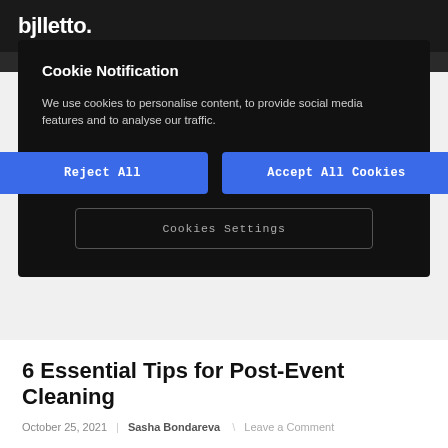bjlletto.
Cookie Notification
We use cookies to personalise content, to provide social media features and to analyse our traffic.
Reject All
Accept All Cookies
Cookies Settings
6 Essential Tips for Post-Event Cleaning
October 25, 2021 | Sasha Bondareva \ Leave a Comment